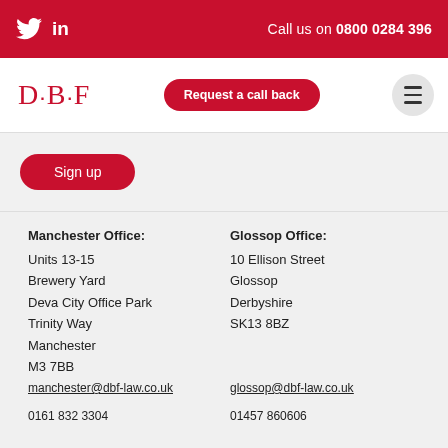Call us on 0800 0284 396
[Figure (logo): DBF law firm logo with text D·B·F in red serif font]
Request a call back
Sign up
Manchester Office:
Units 13-15
Brewery Yard
Deva City Office Park
Trinity Way
Manchester
M3 7BB
Glossop Office:
10 Ellison Street
Glossop
Derbyshire
SK13 8BZ
manchester@dbf-law.co.uk
glossop@dbf-law.co.uk
0161 832 3304
01457 860606